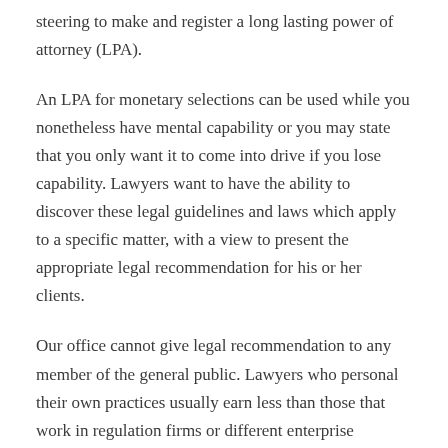steering to make and register a long lasting power of attorney (LPA).
An LPA for monetary selections can be used while you nonetheless have mental capability or you may state that you only want it to come into drive if you lose capability. Lawyers want to have the ability to discover these legal guidelines and laws which apply to a specific matter, with a view to present the appropriate legal recommendation for his or her clients.
Our office cannot give legal recommendation to any member of the general public. Lawyers who personal their own practices usually earn less than those that work in regulation firms or different enterprise establishments. This shift will result in an increase within the demand for lawyers in a wide range of settings, comparable to financial and insurance corporations, consulting firms,